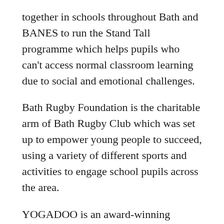together in schools throughout Bath and BANES to run the Stand Tall programme which helps pupils who can't access normal classroom learning due to social and emotional challenges.
Bath Rugby Foundation is the charitable arm of Bath Rugby Club which was set up to empower young people to succeed, using a variety of different sports and activities to engage school pupils across the area.
YOGADOO is an award-winning company based in Bath, providing specialist children's yoga and mindfulness meditation teachers to more than 50 schools across Bath, Bristol, Somerset and Wiltshire.